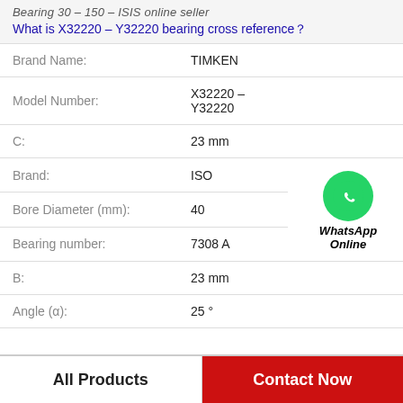Bearing 30 – 150 – ISIS online seller
What is X32220 – Y32220 bearing cross reference？
| Property | Value |
| --- | --- |
| Brand Name: | TIMKEN |
| Model Number: | X32220 – Y32220 |
| C: | 23 mm |
| Brand: | ISO |
| Bore Diameter (mm): | 40 |
| Bearing number: | 7308 A |
| B: | 23 mm |
| Angle (α): | 25 ° |
[Figure (logo): WhatsApp Online green circle icon with phone handset, labeled 'WhatsApp Online' in bold italic text]
All Products
Contact Now